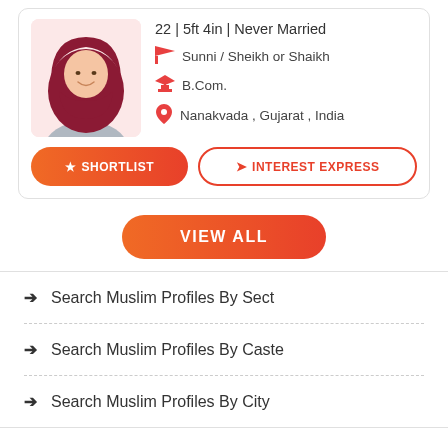[Figure (illustration): Profile avatar of a woman wearing a hijab, shown as a stylized illustration with pink background]
22 | 5ft 4in | Never Married
Sunni / Sheikh or Shaikh
B.Com.
Nanakvada , Gujarat , India
SHORTLIST
INTEREST EXPRESS
VIEW ALL
→ Search Muslim Profiles By Sect
→ Search Muslim Profiles By Caste
→ Search Muslim Profiles By City